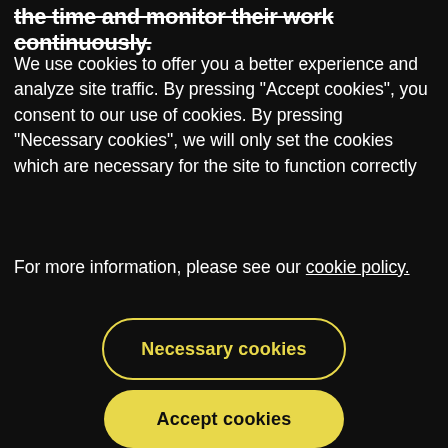the time and monitor their work continuously.
We use cookies to offer you a better experience and analyze site traffic. By pressing "Accept cookies", you consent to our use of cookies. By pressing "Necessary cookies", we will only set the cookies which are necessary for the site to function correctly
For more information, please see our cookie policy.
Necessary cookies
Accept cookies